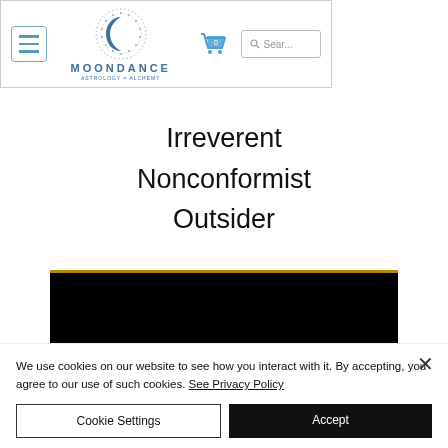[Figure (screenshot): Moondance Astrology x Alchemy website navigation bar with hamburger menu, circular mandala logo, shopping cart icon showing 0 items, and a search box]
Irreverent
Nonconformist
Outsider
[Figure (photo): Dark/black rectangular image area, appears to be a product photo with a thin gold/brown border on top]
We use cookies on our website to see how you interact with it. By accepting, you agree to our use of such cookies. See Privacy Policy
Cookie Settings
Accept